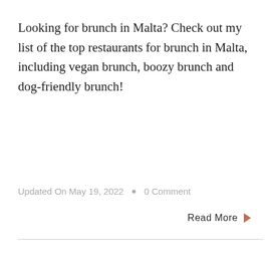Looking for brunch in Malta? Check out my list of the top restaurants for brunch in Malta, including vegan brunch, boozy brunch and dog-friendly brunch!
Updated On May 19, 2022 • 0 Comment
Read More ▶
[Figure (other): Light yellow advertisement placeholder box at bottom of page, with a grey circular scroll-to-top button overlapping the top-right corner]